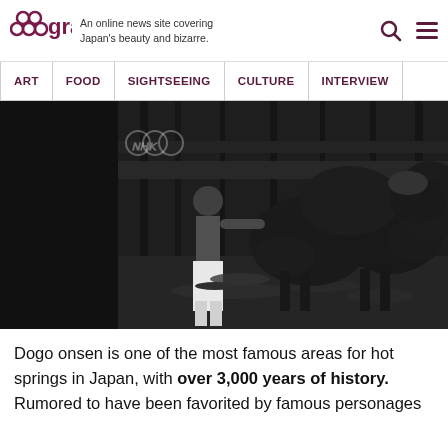grape — An online news site covering Japan's beauty and bizarre.
[Figure (photo): Black and white historical photo showing a shirtless man in white trousers standing waist-deep in water with large cattle/bulls inside what appears to be a traditional Japanese bathhouse (onsen). A watermark logo is visible in the upper left corner.]
Dogo onsen is one of the most famous areas for hot springs in Japan, with over 3,000 years of history. Rumored to have been favorited by famous personages